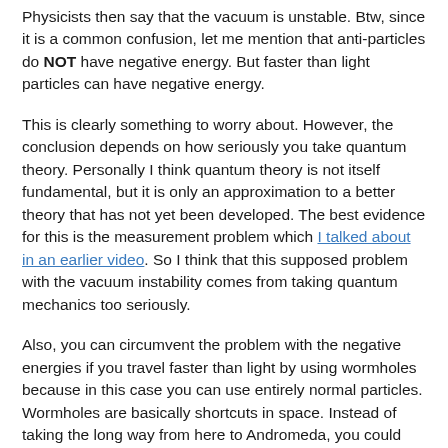Physicists then say that the vacuum is unstable. Btw, since it is a common confusion, let me mention that anti-particles do NOT have negative energy. But faster than light particles can have negative energy.
This is clearly something to worry about. However, the conclusion depends on how seriously you take quantum theory. Personally I think quantum theory is not itself fundamental, but it is only an approximation to a better theory that has not yet been developed. The best evidence for this is the measurement problem which I talked about in an earlier video. So I think that this supposed problem with the vacuum instability comes from taking quantum mechanics too seriously.
Also, you can circumvent the problem with the negative energies if you travel faster than light by using wormholes because in this case you can use entirely normal particles. Wormholes are basically shortcuts in space. Instead of taking the long way from here to Andromeda, you could hop into one end of a wormhole and just reappear at the other end. Unfortunately, there are good reasons to think that